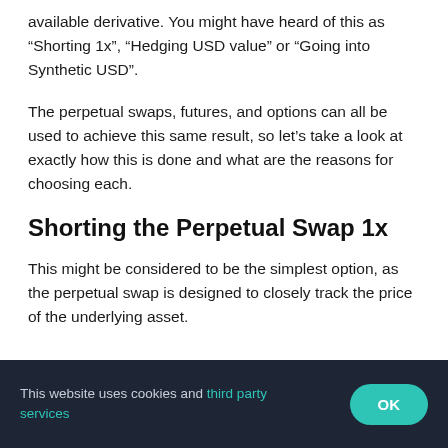available derivative. You might have heard of this as “Shorting 1x”, “Hedging USD value” or “Going into Synthetic USD”.
The perpetual swaps, futures, and options can all be used to achieve this same result, so let’s take a look at exactly how this is done and what are the reasons for choosing each.
Shorting the Perpetual Swap 1x
This might be considered to be the simplest option, as the perpetual swap is designed to closely track the price of the underlying asset.
This website uses cookies and third party services  OK